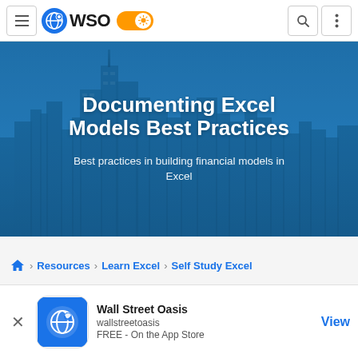WSO Wall Street Oasis navigation bar
[Figure (screenshot): Hero banner with city skyline silhouette in blue tones]
Documenting Excel Models Best Practices
Best practices in building financial models in Excel
Resources › Learn Excel › Self Study Excel
Wall Street Oasis
wallstreetoasis
FREE - On the App Store